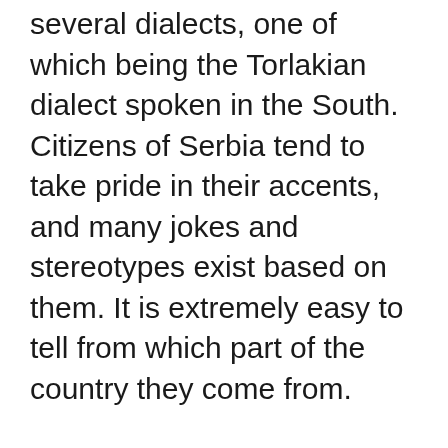several dialects, one of which being the Torlakian dialect spoken in the South. Citizens of Serbia tend to take pride in their accents, and many jokes and stereotypes exist based on them. It is extremely easy to tell from which part of the country they come from.